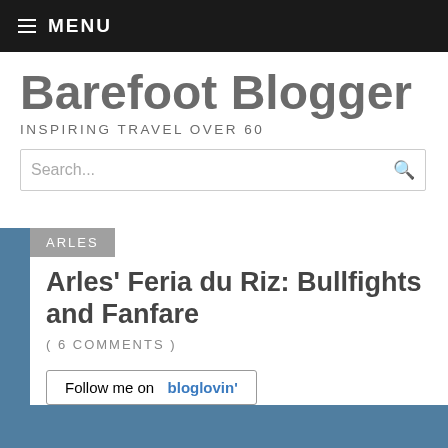MENU
Barefoot Blogger
INSPIRING TRAVEL OVER 60
Search...
ARLES
Arles' Feria du Riz: Bullfights and Fanfare
( 6 COMMENTS )
Follow me on bloglovin'